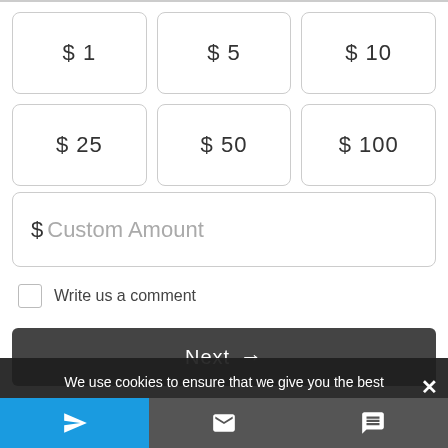[Figure (screenshot): Donation amount selection UI with preset amounts $1, $5, $10, $25, $50, $100, a custom amount field, a comment checkbox, and a Next button]
$ 1
$ 5
$ 10
$ 25
$ 50
$ 100
$ Custom Amount
Write us a comment
Next →
We use cookies to ensure that we give you the best experience on our website. If you continue to use this site we will assume that you are happy with it.